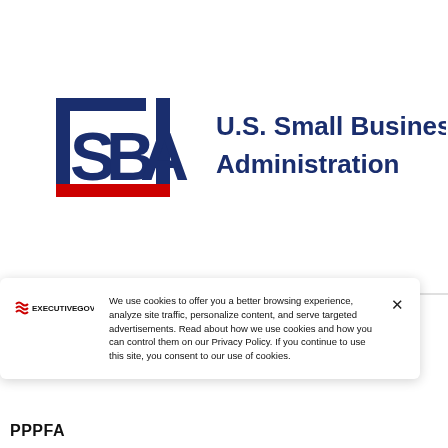[Figure (logo): U.S. Small Business Administration (SBA) logo with blue bracket frame around 'SBA' text and a red horizontal accent bar, followed by text 'U.S. Small Business Administration' in dark blue]
[Figure (screenshot): Cookie consent banner with ExecutiveGov logo on the left, cookie policy text in the center, and an X close button on the right. Text reads: 'We use cookies to offer you a better browsing experience, analyze site traffic, personalize content, and serve targeted advertisements. Read about how we use cookies and how you can control them on our Privacy Policy. If you continue to use this site, you consent to our use of cookies.']
PPPFA